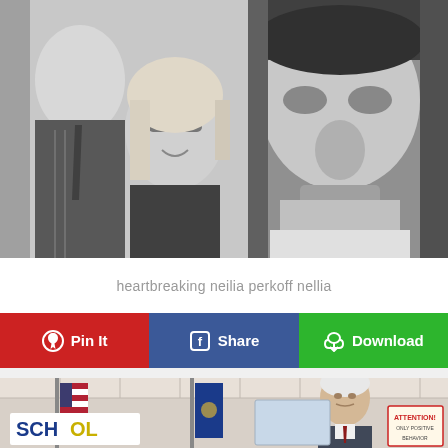[Figure (photo): Black and white photo collage: left side shows a man and a blonde woman wearing sunglasses in close conversation; right side shows a close-up black and white portrait of a person's face]
heartbreaking neilia perkoff nellia
[Figure (infographic): Three social sharing buttons in a row: red 'Pin It' button with Pinterest icon, blue 'Share' button with Facebook icon, green 'Download' button with cloud/download icon]
[Figure (photo): Color photo of a school interior with American flag and blue state flag visible; an elderly man with white hair is present; school signage including 'SCHOOL' text and 'ATTENTION' sign visible]